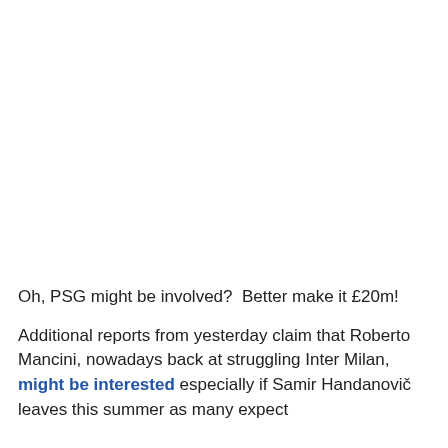Oh, PSG might be involved?  Better make it £20m!
Additional reports from yesterday claim that Roberto Mancini, nowadays back at struggling Inter Milan, might be interested especially if Samir Handanovič leaves this summer as many expect